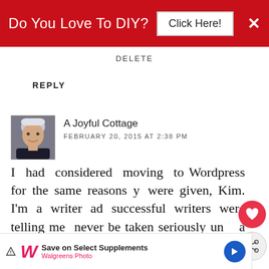[Figure (screenshot): Red banner advertisement: 'Do You Love To DIY? Click Here!' with X close button]
DELETE
REPLY
[Figure (photo): Avatar photo of commenter 'A Joyful Cottage' — a woman with short gray hair]
A Joyful Cottage
FEBRUARY 20, 2015 AT 2:38 PM
I had considered moving to Wordpress for the same reasons you were given, Kim. I'm a writer and successful writers were telling me I'd never be taken seriously unless I had a Wordpress blog. Except the thing I noticed was that there are highly
[Figure (screenshot): Floating social share buttons: heart/like button and share button on right side]
[Figure (screenshot): Liebster badge and 'WHAT'S NEXT → There's A Blogger...' overlay]
[Figure (screenshot): Bottom advertisement: Walgreens Photo - Save on Select Supplements]